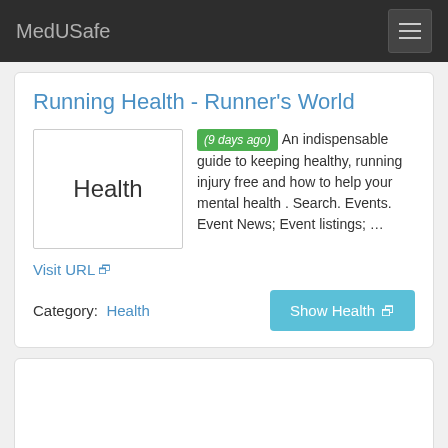MedUSafe
Running Health - Runner's World
[Figure (other): Thumbnail image placeholder with text 'Health']
(9 days ago) An indispensable guide to keeping healthy, running injury free and how to help your mental health . Search. Events. Event News; Event listings; …
Visit URL
Category:  Health
Show Health